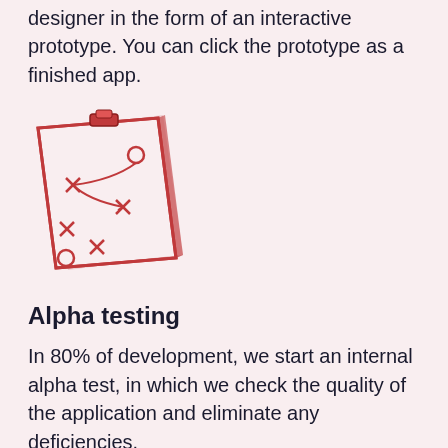designer in the form of an interactive prototype. You can click the prototype as a finished app.
[Figure (illustration): An isometric illustration of a clipboard with a strategy/play diagram drawn on it, showing X and O markers connected by arrows, in red and dark red colors.]
Alpha testing
In 80% of development, we start an internal alpha test, in which we check the quality of the application and eliminate any deficiencies.